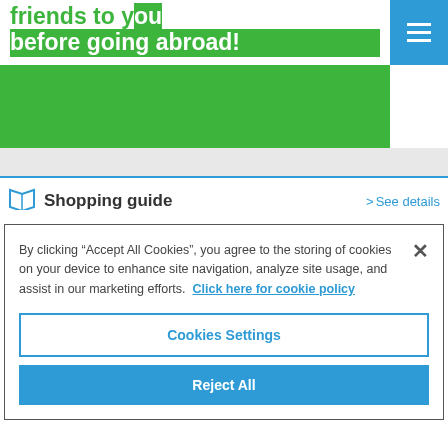[Figure (screenshot): Top banner with green background showing partial text 'before going abroad!' in green on white, with blue hamburger menu button in top right corner]
before going abroad!
Shopping guide
See details
By clicking “Accept All Cookies”, you agree to the storing of cookies on your device to enhance site navigation, analyze site usage, and assist in our marketing efforts. Click here for cookie policy
Cookies Settings
Reject All